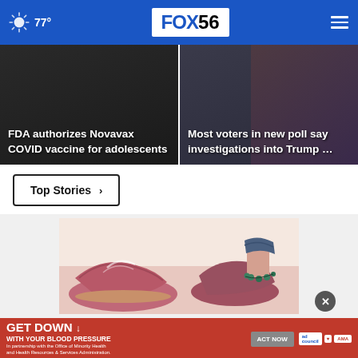77° FOX56
[Figure (photo): News card: FDA authorizes Novavax COVID vaccine for adolescents]
[Figure (photo): News card: Most voters in new poll say investigations into Trump ...]
Top Stories ›
[Figure (photo): Advertisement photo showing pink sandals/shoes with ankle bracelet]
[Figure (infographic): Advertisement banner: GET DOWN WITH YOUR BLOOD PRESSURE - ACT NOW - ad council, American Heart Association, AMA logos]